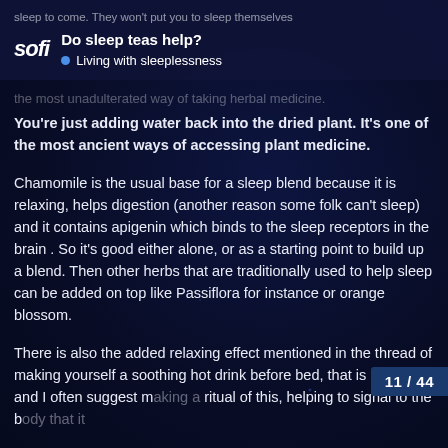sleep to come. They won't put you to sleep themselves
Do sleep teas help? • Living with sleeplessness
the most unadulterated way of taking herbal medicine.
You're just adding water back into the dried plant. It's one of the most ancient ways of accessing plant medicine.
Chamomile is the usual base for a sleep blend because it is relaxing, helps digestion (another reason some folk can't sleep) and it contains apigenin which binds to the sleep receptors in the brain . So it's good either alone, or as a starting point to build up a blend. Then other herbs that are traditionally used to help sleep can be added on top like Passiflora for instance or orange blossom.
There is also the added relaxing effect mentioned in the thread of making yourself a soothing hot drink before bed, that is part of it and I often suggest making a ritual of this, helping to signal to the body that it
11 / 44